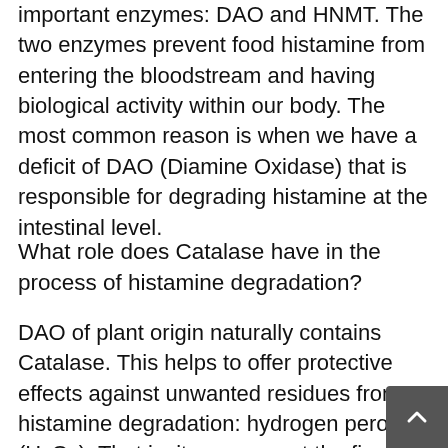important enzymes: DAO and HNMT. The two enzymes prevent food histamine from entering the bloodstream and having biological activity within our body. The most common reason is when we have a deficit of DAO (Diamine Oxidase) that is responsible for degrading histamine at the intestinal level.
What role does Catalase have in the process of histamine degradation?
DAO of plant origin naturally contains Catalase. This helps to offer protective effects against unwanted residues from histamine degradation: hydrogen peroxide (H2O2). That is, it can prevent the final accumulation of H2O2 by promoting its